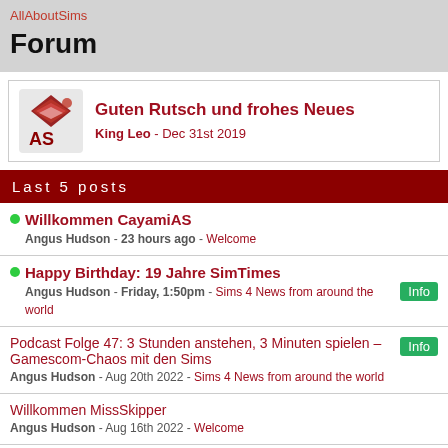AllAboutSims
Forum
Guten Rutsch und frohes Neues
King Leo - Dec 31st 2019
Last 5 posts
Willkommen CayamiAS
Angus Hudson - 23 hours ago - Welcome
Happy Birthday: 19 Jahre SimTimes
Angus Hudson - Friday, 1:50pm - Sims 4 News from around the world
Podcast Folge 47: 3 Stunden anstehen, 3 Minuten spielen – Gamescom-Chaos mit den Sims
Angus Hudson - Aug 20th 2022 - Sims 4 News from around the world
Willkommen MissSkipper
Angus Hudson - Aug 16th 2022 - Welcome
Willkommen lssvt
Angus Hudson - Aug 14th 2022 - Welcome